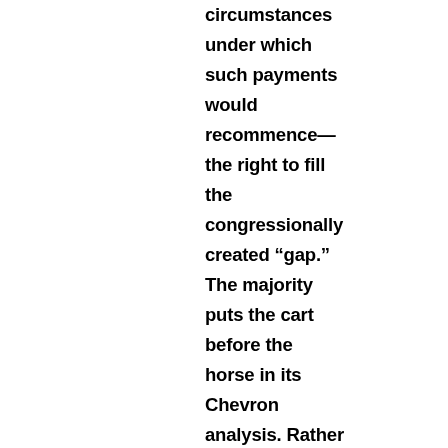circumstances under which such payments would recommence—the right to fill the congressionally created “gap.” The majority puts the cart before the horse in its Chevron analysis. Rather than apply traditional tools of statutory construction to